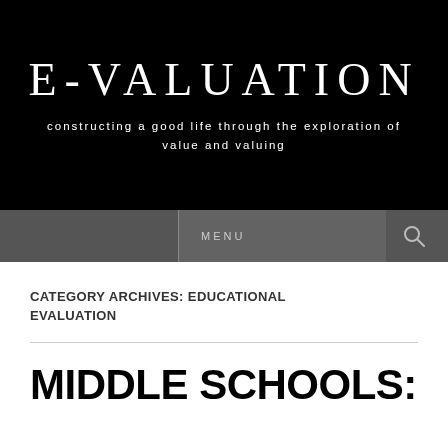E-VALUATION
constructing a good life through the exploration of value and valuing
MENU
CATEGORY ARCHIVES: EDUCATIONAL EVALUATION
MIDDLE SCHOOLS: PROS AND CONS